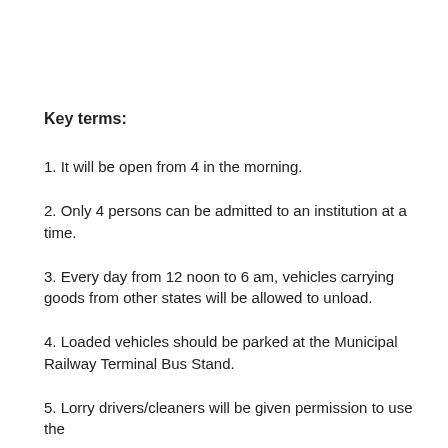Key terms:
1. It will be open from 4 in the morning.
2. Only 4 persons can be admitted to an institution at a time.
3. Every day from 12 noon to 6 am, vehicles carrying goods from other states will be allowed to unload.
4. Loaded vehicles should be parked at the Municipal Railway Terminal Bus Stand.
5. Lorry drivers/cleaners will be given permission to use the